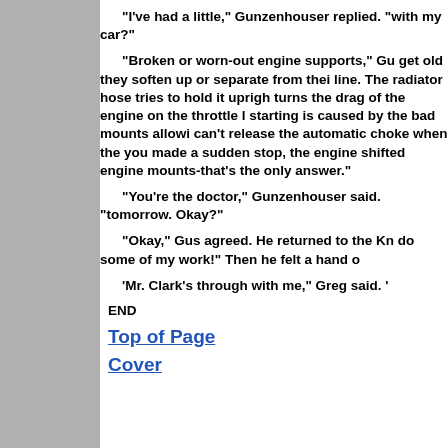"I've had a little," Gunzenhouser replied. "with my car?"
"Broken or worn-out engine supports," G... get old they soften up or separate from thei... line. The radiator hose tries to hold it uprigh... turns the drag of the engine on the throttle l... starting is caused by the bad mounts allowi... can't release the automatic choke when the ... you made a sudden stop, the engine shifted... engine mounts-that's the only answer."
"You're the doctor," Gunzenhouser said. "tomorrow. Okay?"
"Okay," Gus agreed. He returned to the Kn... do some of my work!" Then he felt a hand o...
'Mr. Clark's through with me," Greg said. '
END
Top of Page
Cover